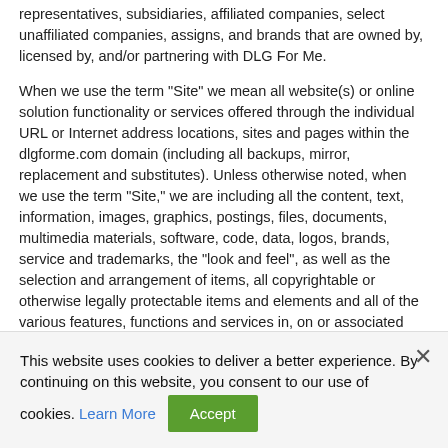representatives, subsidiaries, affiliated companies, select unaffiliated companies, assigns, and brands that are owned by, licensed by, and/or partnering with DLG For Me.
When we use the term "Site" we mean all website(s) or online solution functionality or services offered through the individual URL or Internet address locations, sites and pages within the dlgforme.com domain (including all backups, mirror, replacement and substitutes). Unless otherwise noted, when we use the term "Site," we are including all the content, text, information, images, graphics, postings, files, documents, multimedia materials, software, code, data, logos, brands, service and trademarks, the "look and feel", as well as the selection and arrangement of items, all copyrightable or otherwise legally protectable items and elements and all of the various features, functions and services in, on or associated with our Site and we will use the term "Content" when we refer to them separately. When we use the
This website uses cookies to deliver a better experience. By continuing on this website, you consent to our use of cookies. Learn More Accept